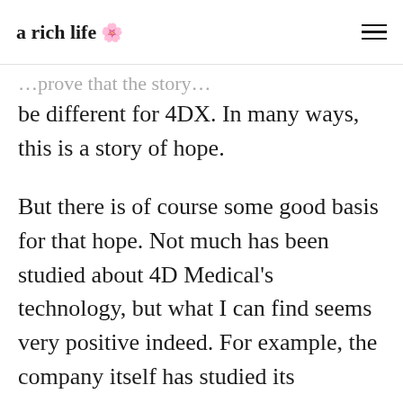a rich life 🌸
be different for 4DX. In many ways, this is a story of hope.
But there is of course some good basis for that hope. Not much has been studied about 4D Medical's technology, but what I can find seems very positive indeed. For example, the company itself has studied its technology in partnership with the Department of Radiation Oncology and Biomedical Sciences, Cedars-Sinai Medical Center, and Department of Pediatrics Pulmonary